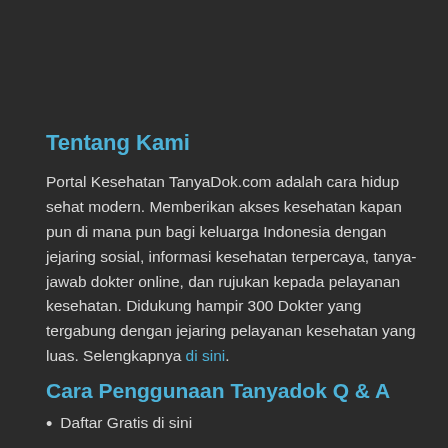Tentang Kami
Portal Kesehatan TanyaDok.com adalah cara hidup sehat modern. Memberikan akses kesehatan kapan pun di mana pun bagi keluarga Indonesia dengan jejaring sosial, informasi kesehatan terpercaya, tanya-jawab dokter online, dan rujukan kepada pelayanan kesehatan. Didukung hampir 300 Dokter yang tergabung dengan jejaring pelayanan kesehatan yang luas. Selengkapnya di sini.
Cara Penggunaan Tanyadok Q & A
Daftar Gratis di sini